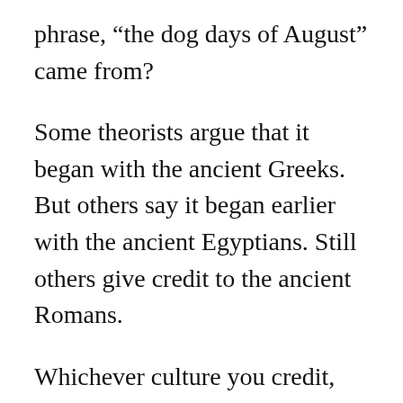phrase, “the dog days of August” came from?
Some theorists argue that it began with the ancient Greeks. But others say it began earlier with the ancient Egyptians. Still others give credit to the ancient Romans.
Whichever culture you credit, this is the reason: Sirius, also called the